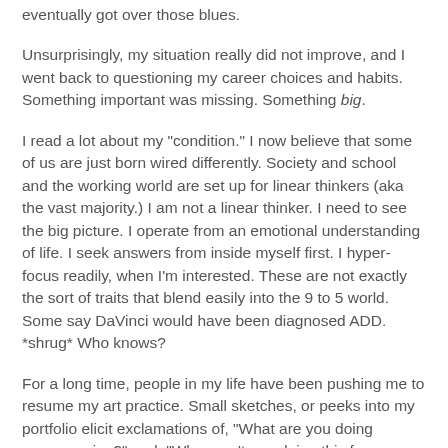eventually got over those blues.
Unsurprisingly, my situation really did not improve, and I went back to questioning my career choices and habits. Something important was missing. Something big.
I read a lot about my "condition." I now believe that some of us are just born wired differently. Society and school and the working world are set up for linear thinkers (aka the vast majority.) I am not a linear thinker. I need to see the big picture. I operate from an emotional understanding of life. I seek answers from inside myself first. I hyper-focus readily, when I'm interested. These are not exactly the sort of traits that blend easily into the 9 to 5 world. Some say DaVinci would have been diagnosed ADD. *shrug* Who knows?
For a long time, people in my life have been pushing me to resume my art practice. Small sketches, or peeks into my portfolio elicit exclamations of, "What are you doing programming?" and, "Why aren't you doing this for a living?" and, "Who took my shoes?"